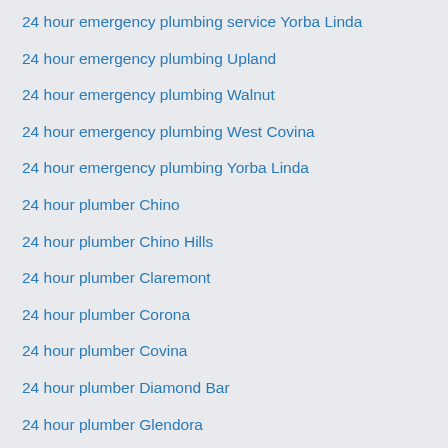24 hour emergency plumbing service Yorba Linda
24 hour emergency plumbing Upland
24 hour emergency plumbing Walnut
24 hour emergency plumbing West Covina
24 hour emergency plumbing Yorba Linda
24 hour plumber Chino
24 hour plumber Chino Hills
24 hour plumber Claremont
24 hour plumber Corona
24 hour plumber Covina
24 hour plumber Diamond Bar
24 hour plumber Glendora
24 hour plumber La Verne
24 hour plumber Montclair
24 hour plumber Norco